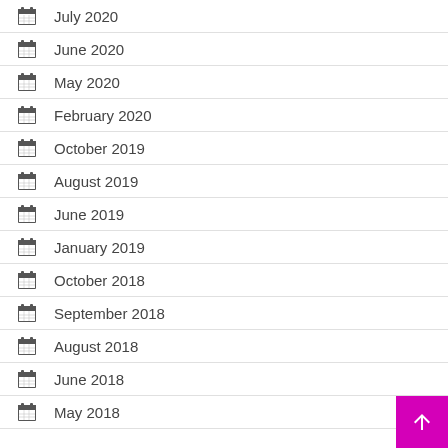July 2020
June 2020
May 2020
February 2020
October 2019
August 2019
June 2019
January 2019
October 2018
September 2018
August 2018
June 2018
May 2018